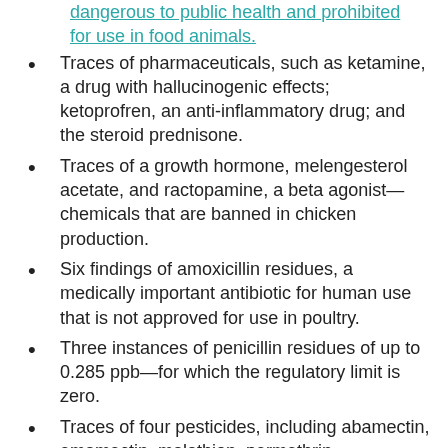dangerous to public health and prohibited for use in food animals.
Traces of pharmaceuticals, such as ketamine, a drug with hallucinogenic effects; ketoprofren, an anti-inflammatory drug; and the steroid prednisone.
Traces of a growth hormone, melengesterol acetate, and ractopamine, a beta agonist—chemicals that are banned in chicken production.
Six findings of amoxicillin residues, a medically important antibiotic for human use that is not approved for use in poultry.
Three instances of penicillin residues of up to 0.285 ppb—for which the regulatory limit is zero.
Traces of four pesticides, including abamectin, emamectin, malathion, permethrin.